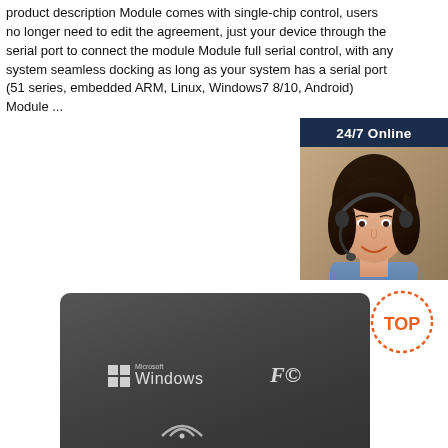product description Module comes with single-chip control, users no longer need to edit the agreement, just your device through the serial port to connect the module Module full serial control, with any system seamless docking as long as your system has a serial port (51 series, embedded ARM, Linux, Windows7 8/10, Android) Module ...
Get Price
[Figure (photo): Customer service agent widget with '24/7 Online' header, photo of woman with headset, 'Click here for free chat!' text, and orange QUOTATION button on dark blue background]
[Figure (photo): Dark grey USB RFID reader device with Microsoft Windows logo, FCC mark, and signal wave icon. TOP badge visible in corner.]